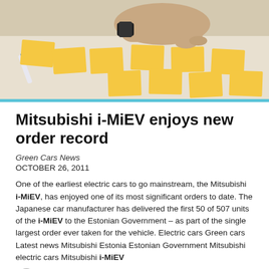[Figure (photo): Overhead photo of hands arranging yellow sticky notes on a white surface]
Mitsubishi i-MiEV enjoys new order record
Green Cars News
OCTOBER 26, 2011
One of the earliest electric cars to go mainstream, the Mitsubishi i-MiEV, has enjoyed one of its most significant orders to date. The Japanese car manufacturer has delivered the first 50 of 507 units of the i-MiEV to the Estonian Government – as part of the single largest order ever taken for the vehicle. Electric cars Green cars Latest news Mitsubishi Estonia Estonian Government Mitsubishi electric cars Mitsubishi i-MiEV